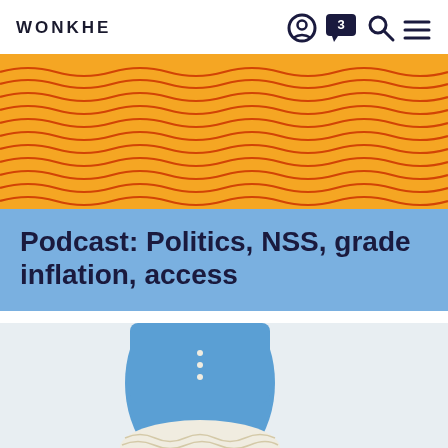WONKHE
[Figure (illustration): Wonkhe website header with logo and navigation icons including a profile circle, chat bubble with number 3, search magnifier, and hamburger menu]
[Figure (illustration): Decorative banner with orange/yellow background and red wavy horizontal lines pattern]
Podcast: Politics, NSS, grade inflation, access
[Figure (photo): Photo of a child in a blue dress with white lace trim and small brown boots, standing next to adult boots, suggesting a height/access/opportunity theme]